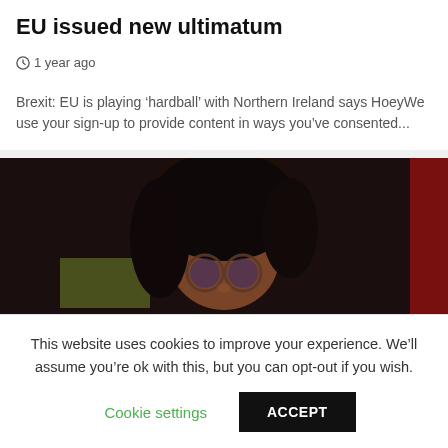EU issued new ultimatum
1 year ago
Brexit: EU is playing ‘hardball’ with Northern Ireland says HoeyWe use your sign-up to provide content in ways you’ve consented...
[Figure (photo): Close-up photo of a person with glasses in a dark setting with red and green background elements]
This website uses cookies to improve your experience. We’ll assume you’re ok with this, but you can opt-out if you wish. Cookie settings  ACCEPT